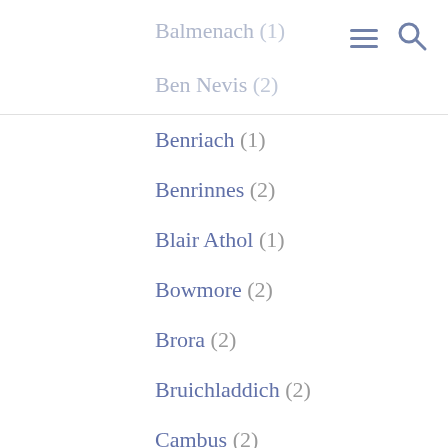Balmenach (1)
Ben Nevis (2)
Benriach (1)
Benrinnes (2)
Blair Athol (1)
Bowmore (2)
Brora (2)
Bruichladdich (2)
Cambus (2)
Cameronbridge (1)
Caol Ila (4)
Caperdonich (1)
Clynelish (2)